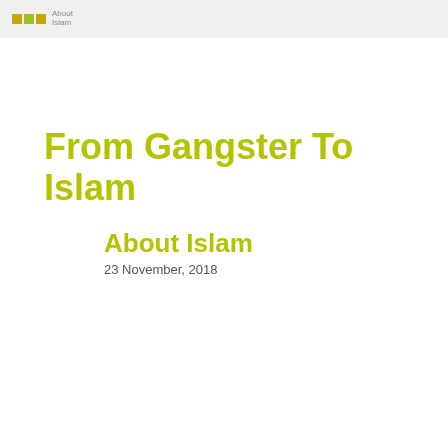About Islam
From Gangster To Islam
About Islam
23 November, 2018